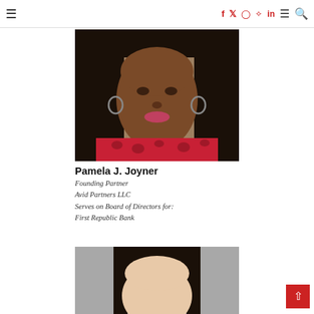Social icons: f, twitter, instagram, pinterest, in | hamburger menu | search
[Figure (photo): Headshot of Pamela J. Joyner, a woman with long dark hair, wearing hoop earrings and a red floral top, smiling]
Pamela J. Joyner
Founding Partner
Avid Partners LLC
Serves on Board of Directors for: First Republic Bank
[Figure (photo): Partial headshot of another person with dark hair, cropped at bottom of page]